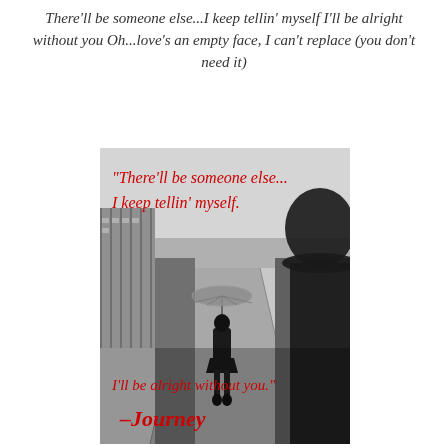There'll be someone else...I keep tellin' myself I'll be alright without you Oh...love's an empty face, I can't replace (you don't need it)
[Figure (illustration): Black and white photograph of a woman walking away down a train platform path holding a transparent umbrella, with a male silhouette in the foreground right. Red cursive text overlaid reads: 'There'll be someone else... I keep tellin' myself. I'll be alright without you.' and '—Journey' at the bottom.]